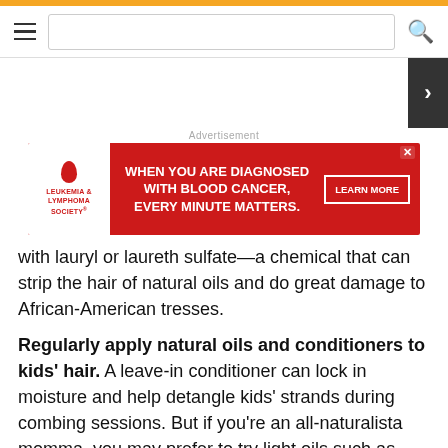Navigation bar with hamburger menu and search icon
[Figure (other): Advertisement banner for Leukemia & Lymphoma Society: 'WHEN YOU ARE DIAGNOSED WITH BLOOD CANCER, EVERY MINUTE MATTERS. LEARN MORE']
with lauryl or laureth sulfate—a chemical that can strip the hair of natural oils and do great damage to African-American tresses.
Regularly apply natural oils and conditioners to kids' hair. A leave-in conditioner can lock in moisture and help detangle kids' strands during combing sessions. But if you're an all-naturalista momma, you may prefer to try light oils such as olive, almond, sage or rosemary oil. Try to avoid heavy mineral oils and oils that contain petroleum or lanolin because these can clog the tiny pores on a kid's scalp.
Have fun using hair accessories. If you have a daughter, the